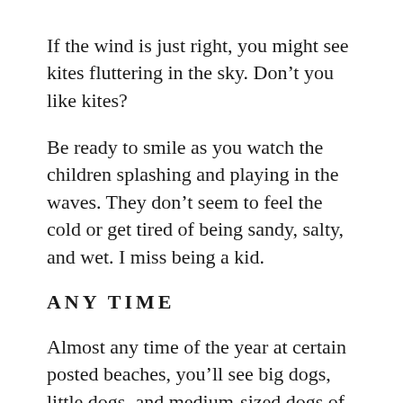If the wind is just right, you might see kites fluttering in the sky. Don’t you like kites?
Be ready to smile as you watch the children splashing and playing in the waves. They don’t seem to feel the cold or get tired of being sandy, salty, and wet. I miss being a kid.
ANY TIME
Almost any time of the year at certain posted beaches, you’ll see big dogs, little dogs, and medium-sized dogs of all kinds, on and off leash. It’s a sniffer’s heaven. They all seem to